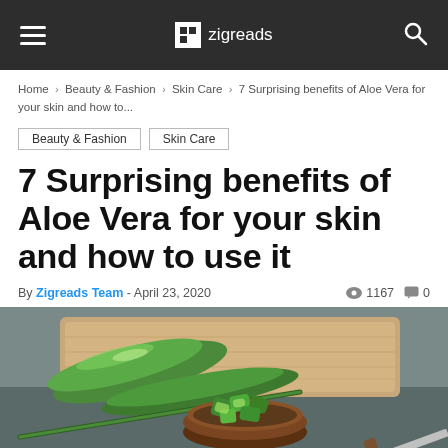zigreads
Home > Beauty & Fashion > Skin Care > 7 Surprising benefits of Aloe Vera for your skin and how to...
Beauty & Fashion
Skin Care
7 Surprising benefits of Aloe Vera for your skin and how to use it
By Zigreads Team - April 23, 2020   1167   0
[Figure (photo): Aloe vera leaves and chopped aloe vera pieces in a wooden bowl on a dark slate background with a cutting board]